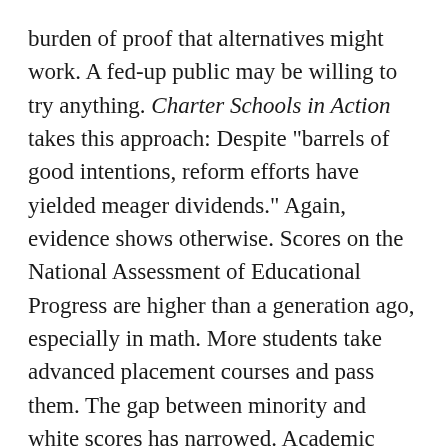burden of proof that alternatives might work. A fed-up public may be willing to try anything. Charter Schools in Action takes this approach: Despite "barrels of good intentions, reform efforts have yielded meager dividends." Again, evidence shows otherwise. Scores on the National Assessment of Educational Progress are higher than a generation ago, especially in math. More students take advanced placement courses and pass them. The gap between minority and white scores has narrowed. Academic content of diplomas has risen. Much remains to be done, but these are not "meager dividends." Charter schools' superiority needs be proven, not assumed.
Setting up a voucher system, in which parents get government funds for private school tuition, has been a contentious idea, although advocates of